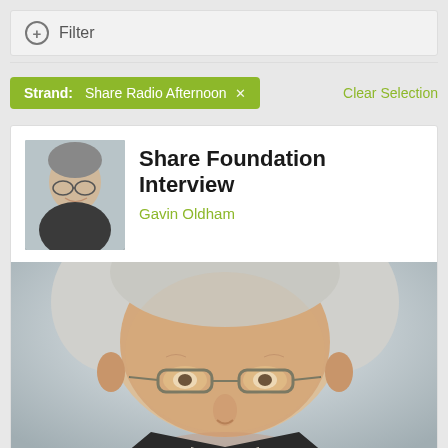Filter
Strand: Share Radio Afternoon ×
Clear Selection
Share Foundation Interview
Gavin Oldham
[Figure (photo): Large close-up photo of an elderly man with white hair and glasses, slightly out of focus in the lower portion]
[Figure (photo): Small thumbnail portrait of an older man in a suit]